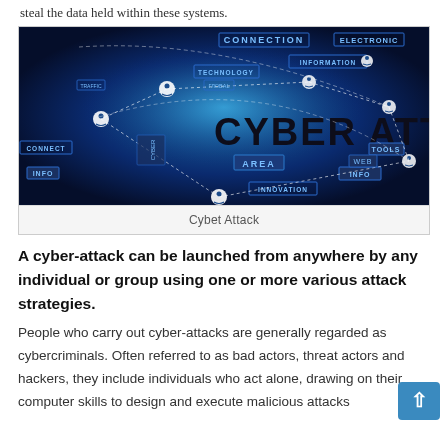steal the data held within these systems.
[Figure (photo): Cyber attack themed digital illustration with the words 'CYBER ATTACK' prominently displayed on a dark blue background, surrounded by network connection diagrams, tech labels (CONNECTION, ELECTRONIC, INFORMATION, TECHNOLOGY, AREA, INFO, INNOVATION, CONNECT, TOOLS, WEB), and glowing network node icons connected by dotted lines.]
Cybet Attack
A cyber-attack can be launched from anywhere by any individual or group using one or more various attack strategies.
People who carry out cyber-attacks are generally regarded as cybercriminals. Often referred to as bad actors, threat actors and hackers, they include individuals who act alone, drawing on their computer skills to design and execute malicious attacks